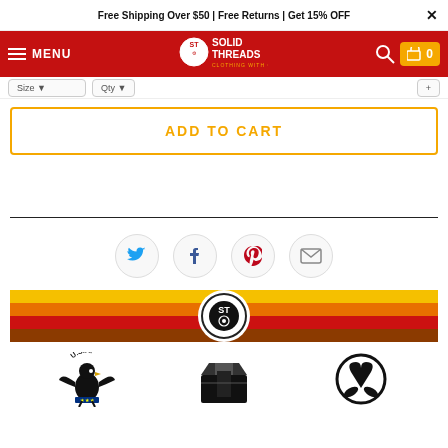Free Shipping Over $50 | Free Returns | Get 15% OFF
[Figure (logo): Solid Threads logo on red navigation bar with MENU, search, and cart icons]
ADD TO CART
[Figure (infographic): Social share icons: Twitter, Facebook, Pinterest, Email in grey circles]
[Figure (infographic): Striped decorative band in yellow, orange, red, brown with circular Solid Threads logo in center]
[Figure (infographic): Three bottom icons: USA eagle emblem, shipping box, recycling/eco heart symbol]